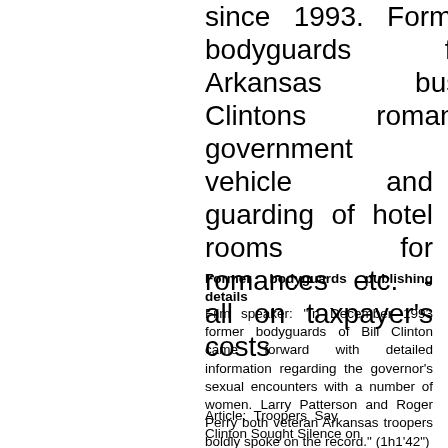since 1993. Former bodyguards from Arkansas busting Clintons romances: government vehicle and guarding of hotel rooms for romances etc. - all on taxpayer's costs
Former bodyguards publishing details
Film speaker: "In December 1993 former bodyguards of Bill Clinton came forward with detailed information regarding the governor's sexual encounters with a number of women. Larry Patterson and Roger Perry both veteran Arkansas troopers boldly spoke on the record." (1h1'42")
Article: Troopers Say Clinton Sought Silence on